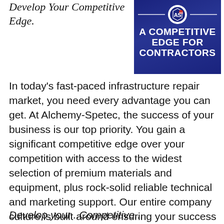Develop Your Competitive Edge.
[Figure (logo): Alchemy-Spetec logo badge on dark blue background with text 'A COMPETITIVE EDGE FOR CONTRACTORS']
In today's fast-paced infrastructure repair market, you need every advantage you can get. At Alchemy-Spetec, the success of your business is our top priority. You gain a significant competitive edge over your competition with access to the widest selection of premium materials and equipment, plus rock-solid reliable technical and marketing support. Our entire company culture is built around ensuring your success in this industry.
Develop your...Competitive...